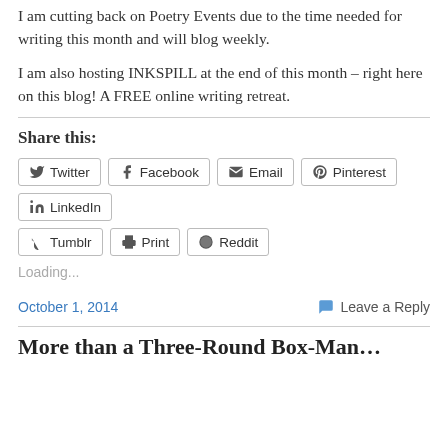I am cutting back on Poetry Events due to the time needed for writing this month and will blog weekly.
I am also hosting INKSPILL at the end of this month – right here on this blog! A FREE online writing retreat.
Share this:
Twitter Facebook Email Pinterest LinkedIn Tumblr Print Reddit
Loading...
October 1, 2014
Leave a Reply